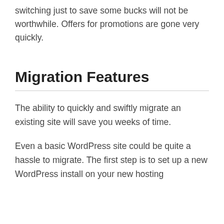switching just to save some bucks will not be worthwhile. Offers for promotions are gone very quickly.
Migration Features
The ability to quickly and swiftly migrate an existing site will save you weeks of time.
Even a basic WordPress site could be quite a hassle to migrate. The first step is to set up a new WordPress install on your new hosting